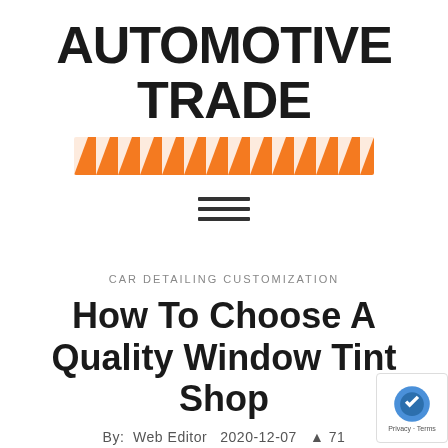AUTOMOTIVE TRADE
[Figure (illustration): Orange and white diagonal hazard stripe bar, used as a decorative separator]
[Figure (illustration): Hamburger menu icon — three horizontal dark lines stacked vertically]
CAR DETAILING CUSTOMIZATION
How To Choose A Quality Window Tint Shop
By:  Web Editor  2020-12-07  71